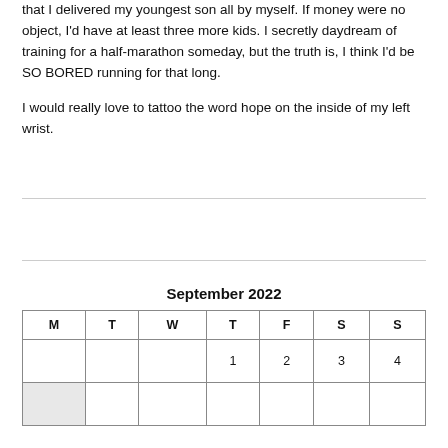that I delivered my youngest son all by myself. If money were no object, I'd have at least three more kids. I secretly daydream of training for a half-marathon someday, but the truth is, I think I'd be SO BORED running for that long.

I would really love to tattoo the word hope on the inside of my left wrist.
| M | T | W | T | F | S | S |
| --- | --- | --- | --- | --- | --- | --- |
|  |  |  | 1 | 2 | 3 | 4 |
|  |  |  |  |  |  |  |